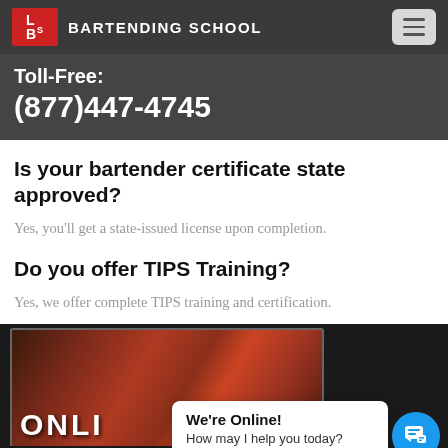LBS BARTENDING SCHOOL
Toll-Free:
(877)447-4745
Is your bartender certificate state approved?
Yes, you'll get a state-issued license upon completion.
Do you offer TIPS Training?
Yes, we offer complete TIPS training and certification.
[Figure (photo): Photo of bartending equipment/drinks with overlay text 'ONLI' and 'BARTENDING', with a chat widget overlay showing 'We're Online! How may I help you today?']